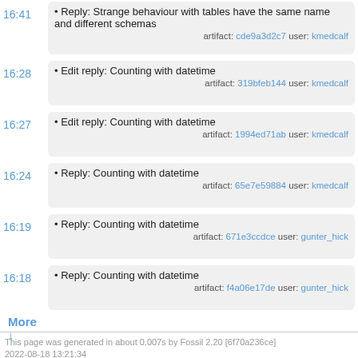16:41 • Reply: Strange behaviour with tables have the same name and different schemas artifact: cde9a3d2c7 user: kmedcalf
16:28 • Edit reply: Counting with datetime artifact: 319bfeb144 user: kmedcalf
16:27 • Edit reply: Counting with datetime artifact: 1994ed71ab user: kmedcalf
16:24 • Reply: Counting with datetime artifact: 65e7e59884 user: kmedcalf
16:19 • Reply: Counting with datetime artifact: 671e3ccdce user: gunter_hick
16:18 • Reply: Counting with datetime artifact: f4a06e17de user: gunter_hick
More ↓
This page was generated in about 0.007s by Fossil 2.20 [6f70a236ce] 2022-08-18 13:21:34